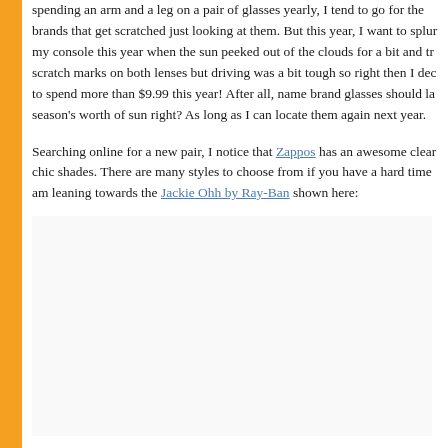spending an arm and a leg on a pair of glasses yearly, I tend to go for the brands that get scratched just looking at them. But this year, I want to splur my console this year when the sun peeked out of the clouds for a bit and tr scratch marks on both lenses but driving was a bit tough so right then I dec to spend more than $9.99 this year! After all, name brand glasses should la season's worth of sun right? As long as I can locate them again next year.
Searching online for a new pair, I notice that Zappos has an awesome clear chic shades. There are many styles to choose from if you have a hard time am leaning towards the Jackie Ohh by Ray-Ban shown here:
[Figure (photo): Image placeholder for Jackie Ohh by Ray-Ban sunglasses]
Or, the St. Maarten by Michael Kors shown here: